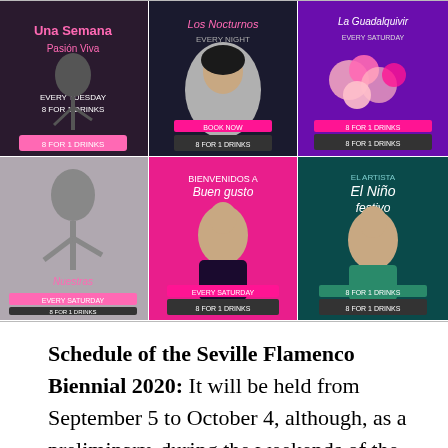[Figure (photo): A collage of six flamenco event/show promotional posters arranged in a 2-row, 3-column grid. Top row shows three posters with performers and event text in pink and purple tones. Bottom row shows three more posters including a black and white dancer, a pink-background performer, and a teal-background male performer.]
Schedule of the Seville Flamenco Biennial 2020: It will be held from September 5 to October 4, although, as a preliminary, during the weekends of the month of August, a cycle will take place in the Monastery of San Jerónimo. It will have fifty-one shows, seven different stages and will host various proposals dedicated to singing, dancing, guitar and other instruments that have recently